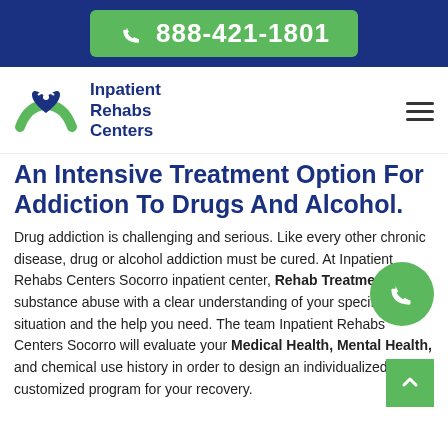888-421-1801
[Figure (logo): Inpatient Rehabs Centers logo with blue heart and green hands]
An Intensive Treatment Option For Addiction To Drugs And Alcohol.
Drug addiction is challenging and serious. Like every other chronic disease, drug or alcohol addiction must be cured. At Inpatient Rehabs Centers Socorro inpatient center, Rehab Treatment for substance abuse with a clear understanding of your specific situation and the help you need. The team Inpatient Rehabs Centers Socorro will evaluate your Medical Health, Mental Health, and chemical use history in order to design an individualized and customized program for your recovery.